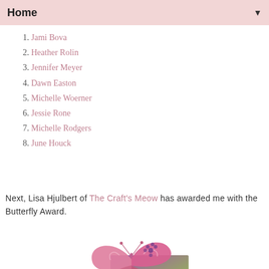Home
1. Jami Bova
2. Heather Rolin
3. Jennifer Meyer
4. Dawn Easton
5. Michelle Woerner
6. Jessie Rone
7. Michelle Rodgers
8. June Houck
Next, Lisa Hjulbert of The Craft's Meow has awarded me with the Butterfly Award.
[Figure (illustration): Butterfly Award image: a pink butterfly above a purple and green square background with the text 'Butterfly Award' in decorative font]